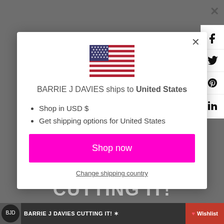[Figure (screenshot): US flag emoji centered in modal dialog]
BARRIE J DAVIES ships to United States
Shop in USD $
Get shipping options for United States
Shop now
Change shipping country
BARRIE J DAVIES CUTTING IT! ♥ Wishlist